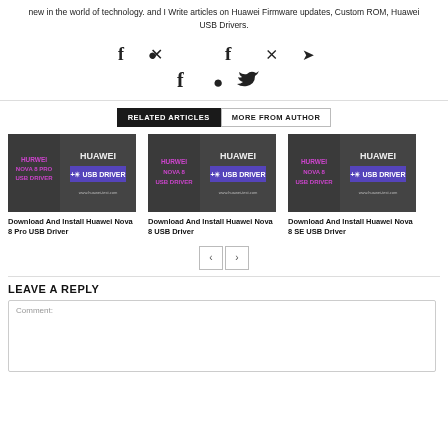new in the world of technology. and I Write articles on Huawei Firmware updates, Custom ROM, Huawei USB Drivers.
[Figure (infographic): Social media icons: Facebook, Pinterest, Twitter]
RELATED ARTICLES | MORE FROM AUTHOR
[Figure (illustration): Huawei Nova 8 Pro USB Driver article thumbnail]
Download And Install Huawei Nova 8 Pro USB Driver
[Figure (illustration): Huawei Nova 8 USB Driver article thumbnail]
Download And Install Huawei Nova 8 USB Driver
[Figure (illustration): Huawei Nova 8 SE USB Driver article thumbnail]
Download And Install Huawei Nova 8 SE USB Driver
LEAVE A REPLY
Comment: